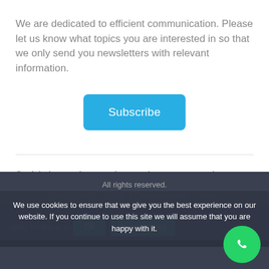We are dedicated to efficient communication. Please let us know what topics you are interested in so that we only send you newsletters with relevant information.
[Figure (other): Blue Subscribe button]
© Global Expatriate Services SL (CIF B98399322) 2020
All rights reserved.
Privacy policy / GDPR / Legal disclaimer / Terms
We use cookies to ensure that we give you the best experience on our website. If you continue to use this site we will assume that you are happy with it.
Apply for this or similar jobs
Ok
Privacy policy